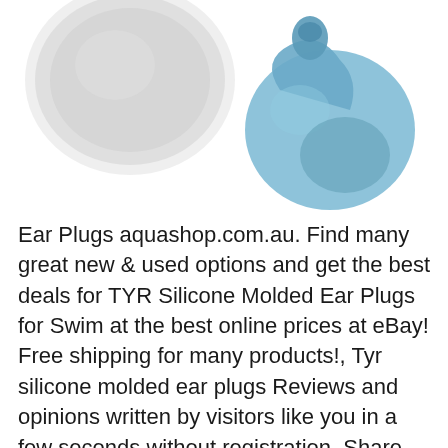[Figure (photo): Two silicone ear plugs: a clear/white round ear plug on the left and a blue molded ear plug (TYR Silicone Molded Ear Plug) on the right, photographed on a white background.]
Ear Plugs aquashop.com.au. Find many great new & used options and get the best deals for TYR Silicone Molded Ear Plugs for Swim at the best online prices at eBay! Free shipping for many products!, Tyr silicone molded ear plugs Reviews and opinions written by visitors like you in a few seconds without registration. Share quick tyr silicone molded ear plugs review with others and describe your own experience or read existing feedback.